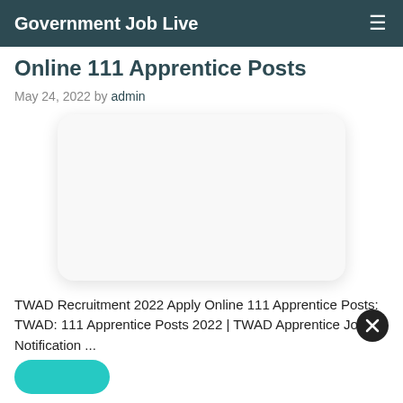Government Job Live
Online 111 Apprentice Posts
May 24, 2022 by admin
[Figure (other): Blank white rounded rectangle image placeholder with drop shadow]
TWAD Recruitment 2022 Apply Online 111 Apprentice Posts: TWAD: 111 Apprentice Posts 2022 | TWAD Apprentice Job Notification ...